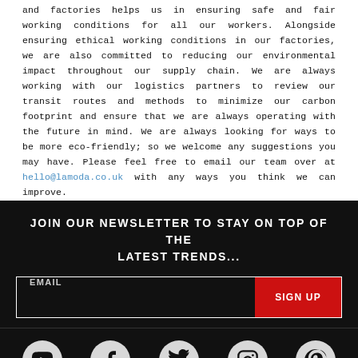and factories helps us in ensuring safe and fair working conditions for all our workers. Alongside ensuring ethical working conditions in our factories, we are also committed to reducing our environmental impact throughout our supply chain. We are always working with our logistics partners to review our transit routes and methods to minimize our carbon footprint and ensure that we are always operating with the future in mind. We are always looking for ways to be more eco-friendly; so we welcome any suggestions you may have. Please feel free to email our team over at hello@lamoda.co.uk with any ways you think we can improve.
JOIN OUR NEWSLETTER TO STAY ON TOP OF THE LATEST TRENDS...
[Figure (other): Email signup form with text input labeled EMAIL and a red SIGN UP button]
[Figure (other): Social media icons row: YouTube, Facebook, Twitter, Instagram, Pinterest — white icons on dark circular grey backgrounds]